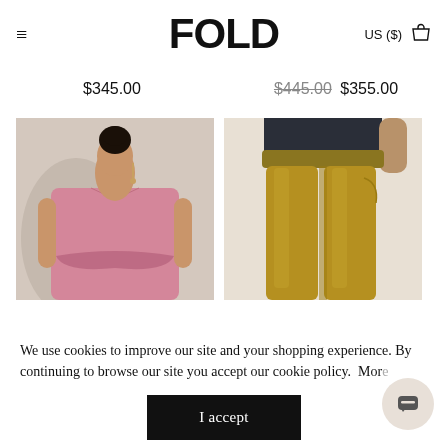FOLD — US ($)
$345.00
$445.00 $355.00
[Figure (photo): Fashion model wearing a pink sleeveless top/dress, hair in a bun, earrings, against a beige background]
[Figure (photo): Close-up of olive/mustard yellow wide-leg trousers with elastic waistband, dark top tucked in]
We use cookies to improve our site and your shopping experience. By continuing to browse our site you accept our cookie policy. More
I accept